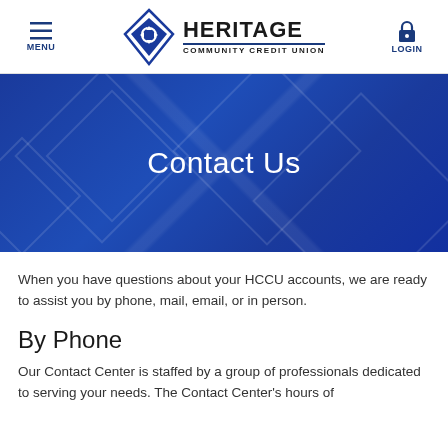[Figure (logo): Heritage Community Credit Union logo with diamond/spiral icon, MENU button with hamburger icon on left, LOGIN button with lock icon on right]
Contact Us
When you have questions about your HCCU accounts, we are ready to assist you by phone, mail, email, or in person.
By Phone
Our Contact Center is staffed by a group of professionals dedicated to serving your needs. The Contact Center's hours of